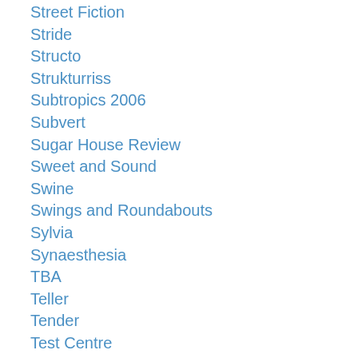Street Fiction
Stride
Structo
Strukturriss
Subtropics 2006
Subvert
Sugar House Review
Sweet and Sound
Swine
Swings and Roundabouts
Sylvia
Synaesthesia
TBA
Teller
Tender
Test Centre
Textsound
The
The A3 Review
The Adirondack Review